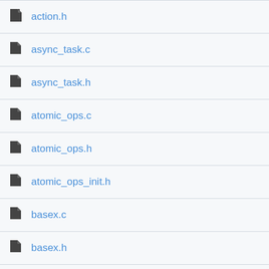action.h
async_task.c
async_task.h
atomic_ops.c
atomic_ops.h
atomic_ops_init.h
basex.c
basex.h
bit_count.c
bit_count.h
bit_scan.c
bit_scan.h
bit_test.h